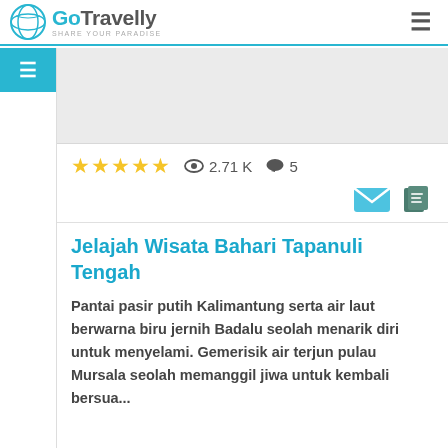GoTravelly - Share Your Paradise
[Figure (screenshot): Gray ad/content placeholder area]
★★★★★  👁 2.71 K  💬 5
Jelajah Wisata Bahari Tapanuli Tengah
Pantai pasir putih Kalimantung serta air laut berwarna biru jernih Badalu seolah menarik diri untuk menyelami. Gemerisik air terjun pulau Mursala seolah memanggil jiwa untuk kembali bersua...